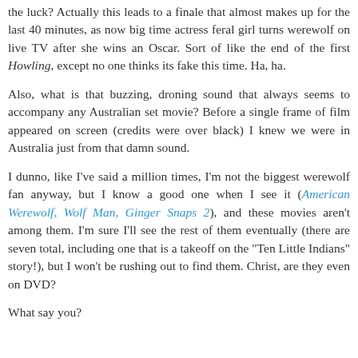the luck? Actually this leads to a finale that almost makes up for the last 40 minutes, as now big time actress feral girl turns werewolf on live TV after she wins an Oscar. Sort of like the end of the first Howling, except no one thinks its fake this time. Ha, ha.
Also, what is that buzzing, droning sound that always seems to accompany any Australian set movie? Before a single frame of film appeared on screen (credits were over black) I knew we were in Australia just from that damn sound.
I dunno, like I've said a million times, I'm not the biggest werewolf fan anyway, but I know a good one when I see it (American Werewolf, Wolf Man, Ginger Snaps 2), and these movies aren't among them. I'm sure I'll see the rest of them eventually (there are seven total, including one that is a takeoff on the "Ten Little Indians" story!), but I won't be rushing out to find them. Christ, are they even on DVD?
What say you?